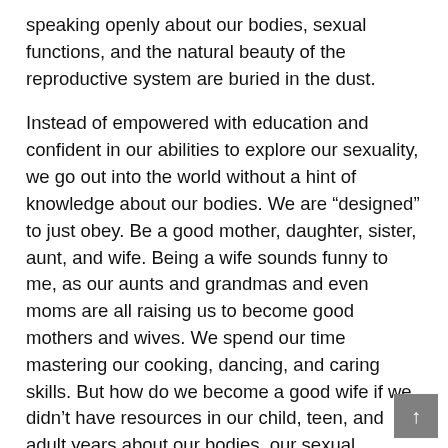speaking openly about our bodies, sexual functions, and the natural beauty of the reproductive system are buried in the dust.
Instead of empowered with education and confident in our abilities to explore our sexuality, we go out into the world without a hint of knowledge about our bodies. We are “designed” to just obey. Be a good mother, daughter, sister, aunt, and wife. Being a wife sounds funny to me, as our aunts and grandmas and even moms are all raising us to become good mothers and wives. We spend our time mastering our cooking, dancing, and caring skills. But how do we become a good wife if we didn’t have resources in our child, teen, and adult years about our bodies, our sexual desires, and needs? In Hispanic culture, that question is supposed to stay open-ended forever.